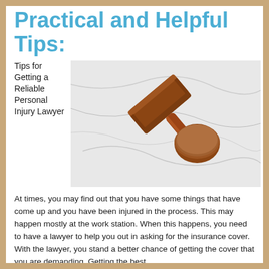Practical and Helpful Tips:
Tips for Getting a Reliable Personal Injury Lawyer
[Figure (photo): A wooden judge's gavel and sound block on a white marble surface, viewed from above.]
At times, you may find out that you have some things that have come up and you have been injured in the process. This may happen mostly at the work station. When this happens, you need to have a lawyer to help you out in asking for the insurance cover. With the lawyer, you stand a better chance of getting the cover that you are demanding. Getting the best